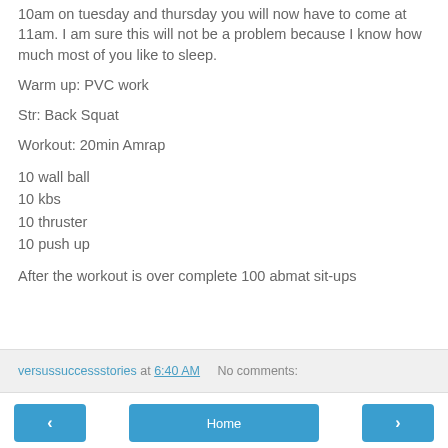10am on tuesday and thursday you will now have to come at 11am.  I am sure this will not be a problem because I know how much most of you like to sleep.
Warm up: PVC work
Str: Back Squat
Workout: 20min Amrap
10 wall ball
10 kbs
10 thruster
10 push up
After the workout is over complete 100 abmat sit-ups
versussuccessstories at 6:40 AM    No comments: